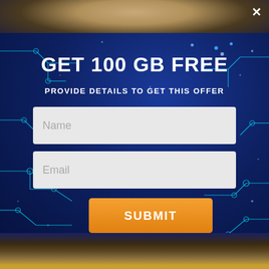[Figure (screenshot): Top photo strip showing a person's blurred face/hair with a dark overlay]
[Figure (illustration): Dark blue tech/circuit board background with cyan circuit traces, glowing dots, and white star-like particles]
GET 100 GB FREE
PROVIDE DETAILS TO GET THIS OFFER
Name
Email
SUBMIT
[Figure (photo): Bottom photo strip showing a blurred person with warm tones and orange/gold element at right]